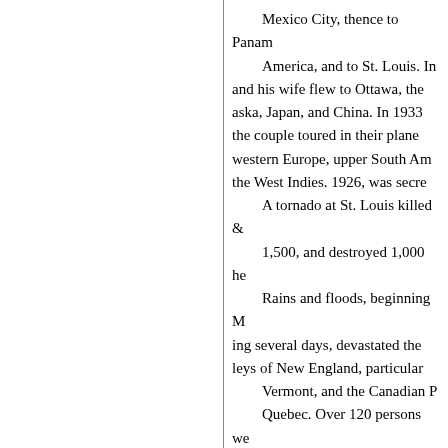Mexico City, thence to Panama, Central America, and to St. Louis. In and his wife flew to Ottawa, the aska, Japan, and China. In 1933 the couple toured in their plane western Europe, upper South America, the West Indies. 1926, was secre A tornado at St. Louis killed 1,500, and destroyed 1,000 he Rains and floods, beginning M ing several days, devastated the leys of New England, particular Vermont, and the Canadian P Quebec. Over 120 persons we Vermont. 21 were killed, 80 b Cuba: 000,000 of property and a opened by President Coolidge